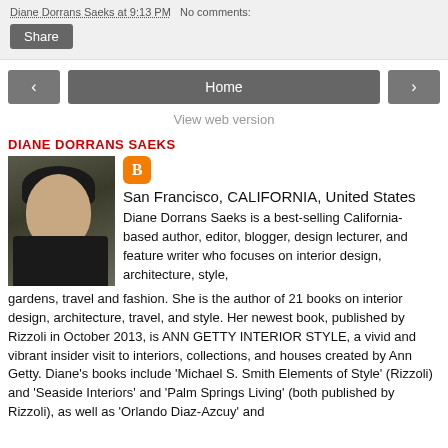Diane Dorrans Saeks at 9:13 PM   No comments:
Share
‹  Home  ›
View web version
DIANE DORRANS SAEKS
[Figure (photo): Profile photo of Diane Dorrans Saeks, a woman with dark hair wearing a black jacket, seated]
San Francisco, CALIFORNIA, United States
Diane Dorrans Saeks is a best-selling California- based author, editor, blogger, design lecturer, and feature writer who focuses on interior design, architecture, style, gardens, travel and fashion. She is the author of 21 books on interior design, architecture, travel, and style. Her newest book, published by Rizzoli in October 2013, is ANN GETTY INTERIOR STYLE, a vivid and vibrant insider visit to interiors, collections, and houses created by Ann Getty. Diane's books include 'Michael S. Smith Elements of Style' (Rizzoli) and 'Seaside Interiors' and 'Palm Springs Living' (both published by Rizzoli), as well as 'Orlando Diaz-Azcuy' and 'Santa Barbara Living' (both published by Rizzoli). She